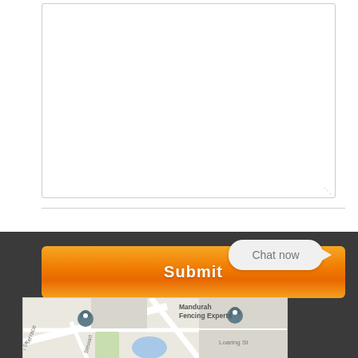[Figure (screenshot): Web form textarea input box (empty, white background with border)]
[Figure (screenshot): Orange Submit button with Chat now popup bubble and female customer service agent photo with green online indicator dot]
[Figure (map): Google Maps screenshot showing Mandurah Fencing Experts location marker, with street labels including Rockford St, Stewart St, Loaring St, and a blue pond area]